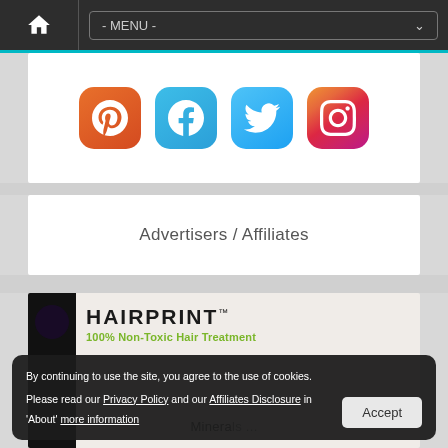- MENU -
[Figure (illustration): Social media icons: Pinterest, Facebook, Twitter, Instagram]
Advertisers / Affiliates
[Figure (illustration): HAIRPRINT - 100% Non-Toxic Hair Treatment advertisement banner]
By continuing to use the site, you agree to the use of cookies. Please read our Privacy Policy and our Affiliates Disclosure in 'About' more information
Accept